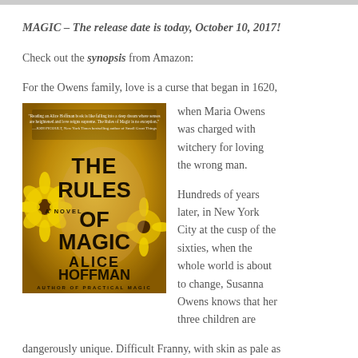MAGIC – The release date is today, October 10, 2017!
Check out the synopsis from Amazon:
For the Owens family, love is a curse that began in 1620,
[Figure (photo): Book cover of 'The Rules of Magic' by Alice Hoffman, author of Practical Magic. Golden-toned cover with a face partially obscured by sunflowers and sparkles. A quote from Jodi Picoult appears at the top.]
when Maria Owens was charged with witchery for loving the wrong man.
Hundreds of years later, in New York City at the cusp of the sixties, when the whole world is about to change, Susanna Owens knows that her three children are dangerously unique.
dangerously unique. Difficult Franny, with skin as pale as